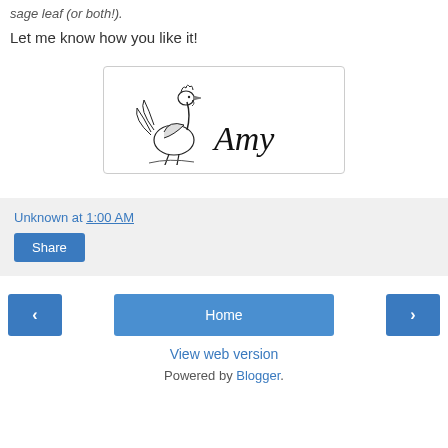sage leaf (or both!).
Let me know how you like it!
[Figure (illustration): A rooster illustration on the left with a cursive handwritten signature 'Amy' on the right, inside a rounded rectangle box.]
Unknown at 1:00 AM
Share
Home
View web version
Powered by Blogger.